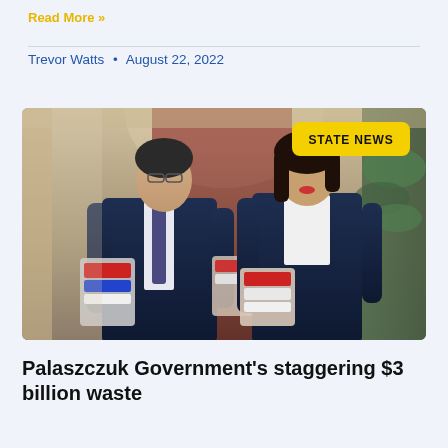Read More »
Trevor Watts • August 22, 2022
[Figure (photo): Two people in navy suits walking in a hallway, the man on the left holding reports/binders, and the woman on the right also holding a report. A yellow 'STATE NEWS' badge is overlaid in the upper right of the image.]
Palaszczuk Government's staggering $3 billion waste